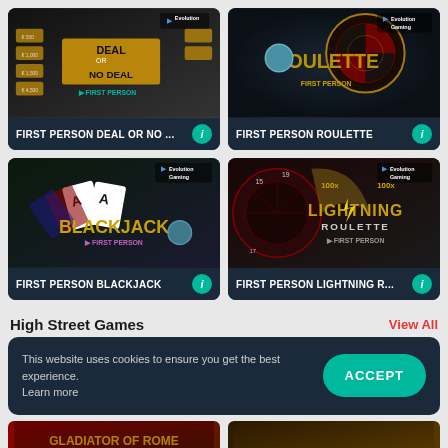[Figure (screenshot): First Person Deal or No Deal game thumbnail with gold suitcases and Evolution branding]
FIRST PERSON DEAL OR NO ...
[Figure (screenshot): First Person Roulette game thumbnail with roulette wheel and Evolution Gaming branding]
FIRST PERSON ROULETTE
[Figure (screenshot): First Person Blackjack game thumbnail with playing cards and Evolution Gaming branding]
FIRST PERSON BLACKJACK
[Figure (screenshot): First Person Lightning Roulette game thumbnail with lightning roulette wheel and Evolution Gaming branding]
FIRST PERSON LIGHTNING R...
High Street Games
View All
This website uses cookies to ensure you get the best experience. Learn more
ACCEPT